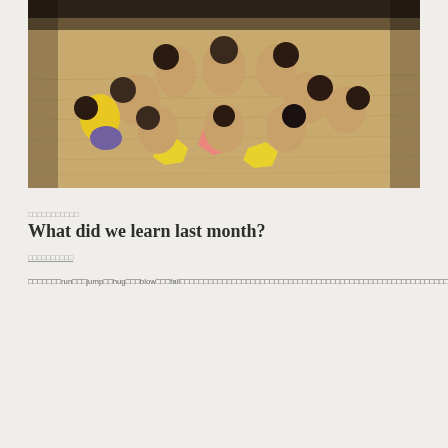[Figure (photo): Children sitting in a circle on a wooden gym floor, viewed from above. Most children are wearing tan/brown uniforms. Some colorful foam puzzle mat pieces (yellow, pink) are visible on the floor.]
□□□□□□□□□□□
What did we learn last month?
□□□□□□□□□□
□□□□□□□run□□□jump□□hug□□□blow□□□fall□□□□□□□□□□□□□□□□□□□□□□□□□□□□□□□□□□□□□□□□□□□□□□□□□□□□